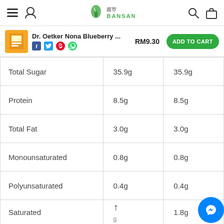Navigation bar with hamburger, user icon, Bansan logo, search and cart icons
Dr. Oetker Nona Blueberry ... RM9.30 ADD TO CART
|  | Col 1 | Col 2 |
| --- | --- | --- |
| Total Sugar | 35.9g | 35.9g |
| Protein | 8.5g | 8.5g |
| Total Fat | 3.0g | 3.0g |
| Monounsaturated | 0.8g | 0.8g |
| Polyunsaturated | 0.4g | 0.4g |
| Saturated | ↑ g | 1.8g |